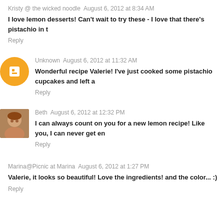Kristy @ the wicked noodle  August 6, 2012 at 8:34 AM
I love lemon desserts! Can't wait to try these - I love that there's pistachio in t
Reply
Unknown  August 6, 2012 at 11:32 AM
Wonderful recipe Valerie! I've just cooked some pistachio cupcakes and left a
Reply
Beth  August 6, 2012 at 12:32 PM
I can always count on you for a new lemon recipe! Like you, I can never get en
Reply
Marina@Picnic at Marina  August 6, 2012 at 1:27 PM
Valerie, it looks so beautiful! Love the ingredients! and the color... :)
Reply